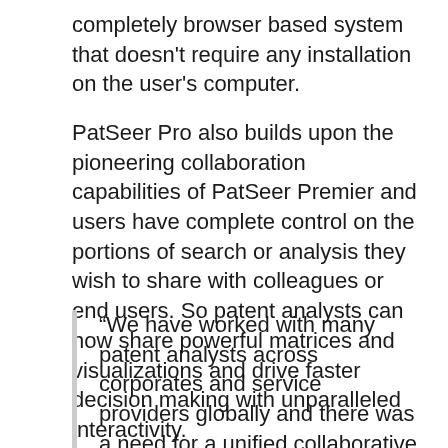completely browser based system that doesn't require any installation on the user's computer.
PatSeer Pro also builds upon the pioneering collaboration capabilities of PatSeer Premier and users have complete control on the portions of search or analysis they wish to share with colleagues or end users. So patent analysts can now share powerful matrices and visualizations and drive faster decision making with unparalleled interactivity.
“We have worked with many patent analysts across corporates and service providers globally and there was a need for a unified collaborative platform for patent data research and analytics which could also be also used as a delivery platform offering interactive displays and